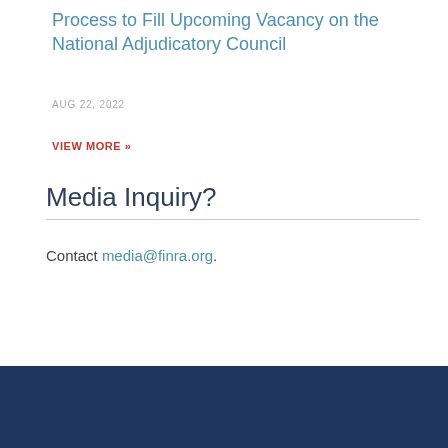Process to Fill Upcoming Vacancy on the National Adjudicatory Council
AUG 22, 2022
VIEW MORE »
Media Inquiry?
Contact media@finra.org.